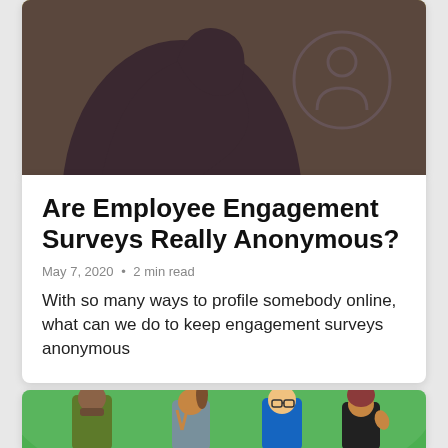[Figure (illustration): Article header illustration showing a dark olive/brown background with a large dark brown hand/figure silhouette and a circular person/user icon graphic in gray on the right side]
Are Employee Engagement Surveys Really Anonymous?
May 7, 2020 • 2 min read
With so many ways to profile somebody online, what can we do to keep engagement surveys anonymous
[Figure (illustration): Article header illustration showing four cartoon characters (diverse group of people) standing together smiling on a green background]